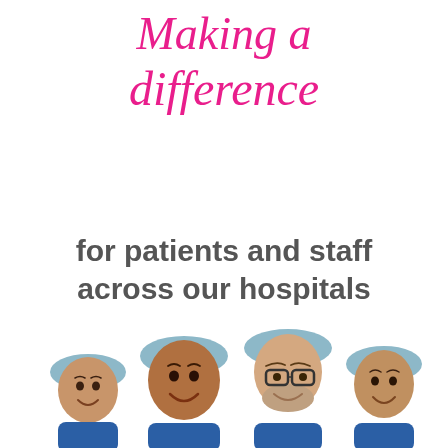Making a difference
for patients and staff across our hospitals
[Figure (photo): Four smiling healthcare workers wearing blue scrubs and surgical caps (hairnets), posing together. Three women and one man with glasses.]